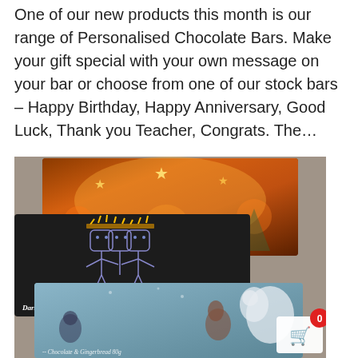One of our new products this month is our range of Personalised Chocolate Bars. Make your gift special with your own message on your bar or choose from one of our stock bars – Happy Birthday, Happy Anniversary, Good Luck, Thank you Teacher, Congrats. The...
[Figure (photo): Three chocolate bar packaging products overlapping on a grey surface: a Christmas-themed bar (Amaretti & Smoked Sea Salt 80g) with warm orange/gold lights and stars, a black bar (Dark Peru with Ginger 80g) with an illustrated crowned figure, and a winter animals bar (Chocolate & Gingerbread) with a polar bear, squirrel, and other animals on a blue-grey background. A shopping cart icon with a red '0' badge is visible in the bottom-right corner.]